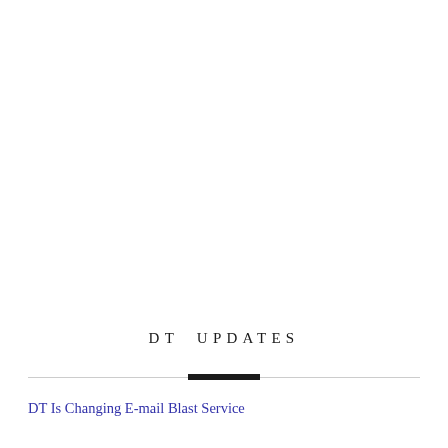DT UPDATES
DT Is Changing E-mail Blast Service